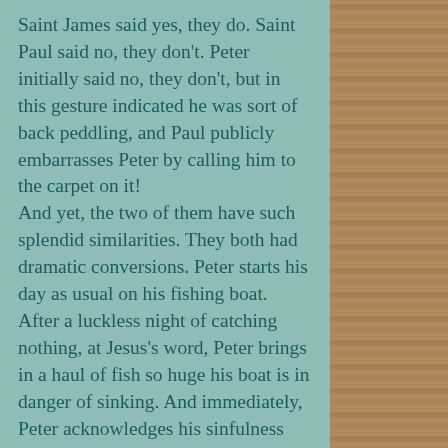Saint James said yes, they do. Saint Paul said no, they don't. Peter initially said no, they don't, but in this gesture indicated he was sort of back peddling, and Paul publicly embarrasses Peter by calling him to the carpet on it!
And yet, the two of them have such splendid similarities. They both had dramatic conversions. Peter starts his day as usual on his fishing boat. After a luckless night of catching nothing, at Jesus's word, Peter brings in a haul of fish so huge his boat is in danger of sinking. And immediately, Peter acknowledges his sinfulness and Jesus invites him to change his life forever.
Paul is traveling to Damascus and gets knocked off his horse. He's blinded by a bright light and a voice calls out to him, "Saul, Saul, why do